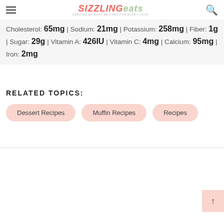Sizzling Eats — serving up easy recipes for every cook
Cholesterol: 65mg | Sodium: 21mg | Potassium: 258mg | Fiber: 1g | Sugar: 29g | Vitamin A: 426IU | Vitamin C: 4mg | Calcium: 95mg | Iron: 2mg
RELATED TOPICS:
Dessert Recipes
Muffin Recipes
Recipes